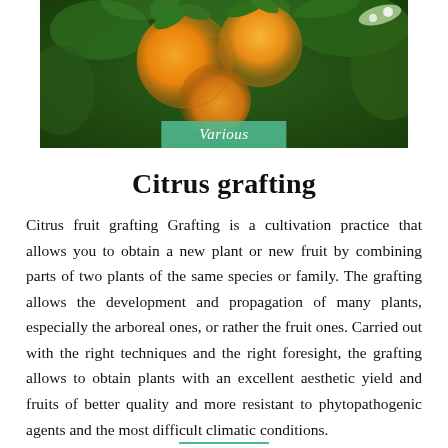[Figure (photo): Photograph of citrus fruits (oranges) hanging on a tree with green leaves, with a teal/green label overlay reading 'Various']
Citrus grafting
Citrus fruit grafting Grafting is a cultivation practice that allows you to obtain a new plant or new fruit by combining parts of two plants of the same species or family. The grafting allows the development and propagation of many plants, especially the arboreal ones, or rather the fruit ones. Carried out with the right techniques and the right foresight, the grafting allows to obtain plants with an excellent aesthetic yield and fruits of better quality and more resistant to phytopathogenic agents and the most difficult climatic conditions.